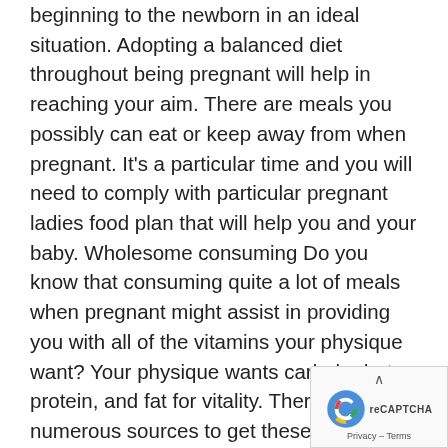beginning to the newborn in an ideal situation. Adopting a balanced diet throughout being pregnant will help in reaching your aim. There are meals you possibly can eat or keep away from when pregnant. It's a particular time and you will need to comply with particular pregnant ladies food plan that will help you and your baby. Wholesome consuming Do you know that consuming quite a lot of meals when pregnant might assist in providing you with all of the vitamins your physique want? Your physique wants carbohydrate, protein, and fat for vitality. There are numerous sources to get these vitamins. You may get them from: Unsaturated fat like fish, nuts, canola oil, and olive oil. Carbohydrate from fruits, complete grains, low-fat milk merchandise, legumes (lentils, beans, and peas), greens, and fruits. Lean protein like poultry with out pores and skin, fish with low mercury, low-fat milk merchandise, and legumes. The consumption of wholesome meals throughout being pregnant is useful to the well being of your child and your general well being. Maybe you have already got a wholesome balanced food plan plan or